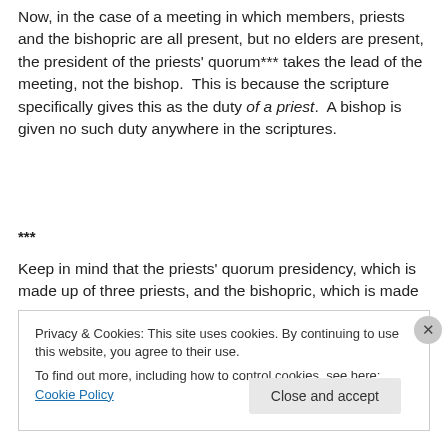Now, in the case of a meeting in which members, priests and the bishopric are all present, but no elders are present, the president of the priests' quorum*** takes the lead of the meeting, not the bishop.  This is because the scripture specifically gives this as the duty of a priest.  A bishop is given no such duty anywhere in the scriptures.
***
Keep in mind that the priests' quorum presidency, which is made up of three priests, and the bishopric, which is made
Privacy & Cookies: This site uses cookies. By continuing to use this website, you agree to their use.
To find out more, including how to control cookies, see here: Cookie Policy